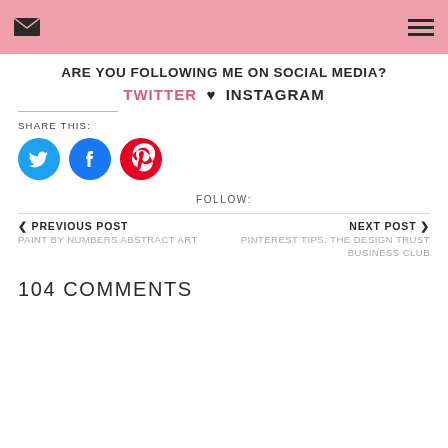Email envelope icon | Hamburger menu icon
ARE YOU FOLLOWING ME ON SOCIAL MEDIA?
TWITTER ♥ INSTAGRAM
SHARE THIS:
[Figure (other): Three circular social media share buttons: Twitter (blue), Facebook (blue), Pinterest (red)]
FOLLOW:
< PREVIOUS POST
NEXT POST >
PAINT BY NUMBERS ABSTRACT ART
PINTEREST TIPS: THE DESIGN TRUST BUSINESS CLUB
104 COMMENTS